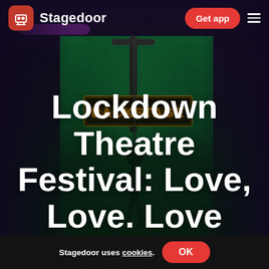[Figure (photo): Dark theatrical photo showing a green-lit brick wall with a glowing BACKSTAGE neon sign and a figure hanging from a pipe/cable against the wall. Dark purple ambient lighting surrounds the scene.]
Stagedoor | Get app
Lockdown Theatre Festival: Love, Love. Love
Stagedoor uses cookies. OK